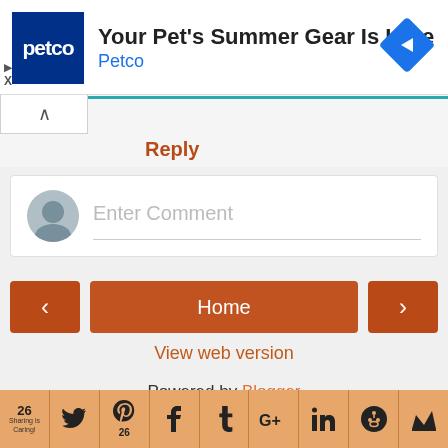[Figure (infographic): Petco advertisement banner with Petco logo (dark blue square with white 'petco' text), headline 'Your Pet's Summer Gear Is Here', brand name 'Petco' in blue, and a blue diamond navigation icon on the right. Ad controls (play and X) on the left side.]
Reply
[Figure (infographic): Comment input area with a grey avatar circle on the left and 'Enter Comment' placeholder text, with a bottom border line.]
[Figure (infographic): Navigation buttons: left arrow button, Home center button, right arrow button, all in burnt orange color.]
View web version
Powered by Blogger
[Figure (infographic): Bottom share bar with social sharing buttons: count 26 / Sharing is Caring!, Twitter, Pinterest (26), Facebook, Tumblr, Google+, LinkedIn, Reddit, Crown icon]